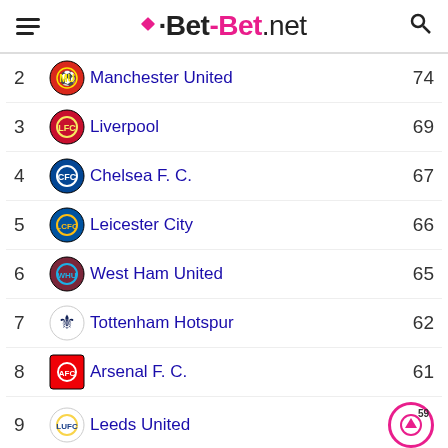Bet-Bet.net
| Rank | Team | Points |
| --- | --- | --- |
| 2 | Manchester United | 74 |
| 3 | Liverpool | 69 |
| 4 | Chelsea F. C. | 67 |
| 5 | Leicester City | 66 |
| 6 | West Ham United | 65 |
| 7 | Tottenham Hotspur | 62 |
| 8 | Arsenal F. C. | 61 |
| 9 | Leeds United | 59 |